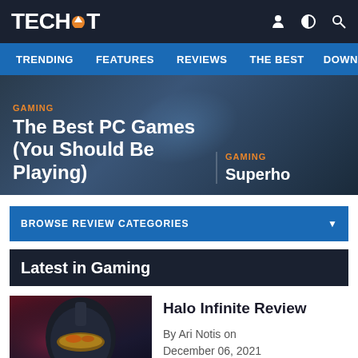TECHSPOT
TRENDING  FEATURES  REVIEWS  THE BEST  DOWNLOADS
GAMING
The Best PC Games (You Should Be Playing)
GAMING
Superho
BROWSE REVIEW CATEGORIES
Latest in Gaming
[Figure (photo): Halo Infinite Master Chief helmet close-up in dark atmospheric lighting with red and dark tones]
Halo Infinite Review
By Ari Notis on
December 06, 2021